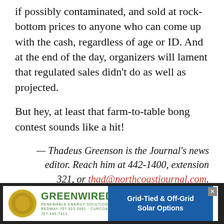if possibly contaminated, and sold at rock-bottom prices to anyone who can come up with the cash, regardless of age or ID. And at the end of the day, organizers will lament that regulated sales didn't do as well as projected.
But hey, at least that farm-to-table bong contest sounds like a hit!
— Thadeus Greenson is the Journal's news editor. Reach him at 442-1400, extension 321, or thad@northcoastjournal.com. Follow him on Twitter @thadeusgreenson.
tags
THE WEEK IN WEED
[Figure (other): Greenwired advertisement banner: circular gold logo on left, 'GREENWIRED' green text with 'RENEWABLE ENERGY SOLUTIONS' subtitle, right side blue panel reading 'Grid-Tied & Off-Grid Solar Options']